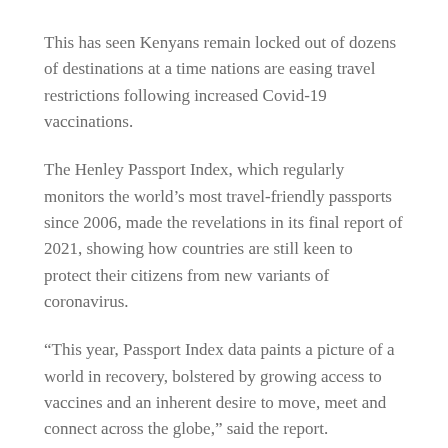This has seen Kenyans remain locked out of dozens of destinations at a time nations are easing travel restrictions following increased Covid-19 vaccinations.
The Henley Passport Index, which regularly monitors the world's most travel-friendly passports since 2006, made the revelations in its final report of 2021, showing how countries are still keen to protect their citizens from new variants of coronavirus.
“This year, Passport Index data paints a picture of a world in recovery, bolstered by growing access to vaccines and an inherent desire to move, meet and connect across the globe,” said the report.
Taiwan, Israel, Sweden, Vatican City, South Korea